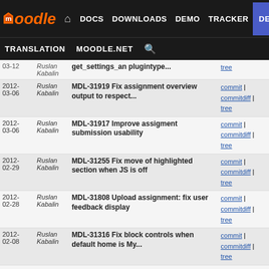Moodle navigation: DOCS DOWNLOADS DEMO TRACKER DEV | TRANSLATION MOODLE.NET
| Date | Author | Message | Links |
| --- | --- | --- | --- |
| 03-12 | Ruslan Kabalin | get_settings_an plugintype... | tree |
| 2012-03-06 | Ruslan Kabalin | MDL-31919 Fix assignment overview output to respect... | commit | commitdiff | tree |
| 2012-03-06 | Ruslan Kabalin | MDL-31917 Improve assigment submission usability | commit | commitdiff | tree |
| 2012-02-29 | Ruslan Kabalin | MDL-31255 Fix move of highlighted section when JS is off | commit | commitdiff | tree |
| 2012-02-28 | Ruslan Kabalin | MDL-31808 Upload assignment: fix user feedback display | commit | commitdiff | tree |
| 2012-02-08 | Ruslan Kabalin | MDL-31316 Fix block controls when default home is My... | commit | commitdiff | tree |
| 2011-11-30 | Ruslan Kabalin | MDL-30526 Choice: add form validation rule for numeric... | commit | commitdiff | tree |
| 2011-10-17 | Ruslan Kabalin | MDL-29695 cohorts: Add pagination and search to cohorts... | commit | commitdiff | tree |
| 2011-10-17 | Ruslan Kabalin | MDL-29695 enrol: cohort: Add pagination and search... | commit | commitdiff | tree |
| 2011-10-10 | Ruslan Kabalin | MDL-29692 enrol: cohort: Fix default role issue in... | commit | commitdiff | tree |
| 2011- | Ruslan Kabalin | MDL-28520: repositories: validation | commit | commitdiff |